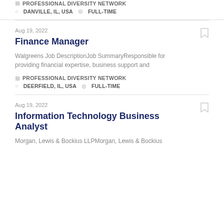PROFESSIONAL DIVERSITY NETWORK
DANVILLE, IL, USA   FULL-TIME
Aug 19, 2022
Finance Manager
Walgreens Job DescriptionJob SummaryResponsible for providing financial expertise, business support and
PROFESSIONAL DIVERSITY NETWORK
DEERFIELD, IL, USA   FULL-TIME
Aug 19, 2022
Information Technology Business Analyst
Morgan, Lewis & Bockius LLPMorgan, Lewis & Bockius